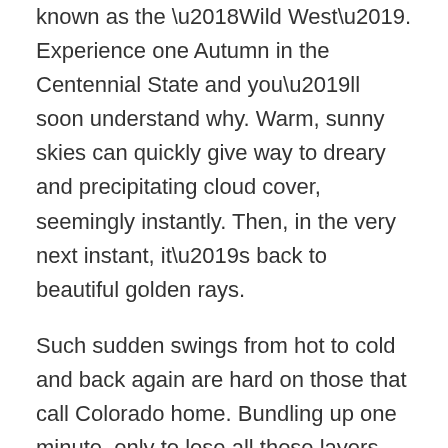known as the ‘Wild West’. Experience one Autumn in the Centennial State and you’ll soon understand why. Warm, sunny skies can quickly give way to dreary and precipitating cloud cover, seemingly instantly. Then, in the very next instant, it’s back to beautiful golden rays.
Such sudden swings from hot to cold and back again are hard on those that call Colorado home. Bundling up one minute, only to lose all those layers the next.
It’s even harder on Denver heating and air conditioning systems. That’s why it’s important to schedule heating and air conditioning repair consultations regularly. But how do you know if it’s time to schedule a heating or AC unit repair consult? The best piece of advice is to call your trusted Denver heating and air repair service to ensure no problems persist. Before you do, thought, there are a few common indicators that you should look out for that indicate the need for a heating and air repair specialist.